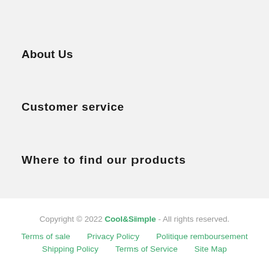About Us
Customer service
Where to find our products
Copyright © 2022 Cool&Simple - All rights reserved. Terms of sale Privacy Policy Politique remboursement Shipping Policy Terms of Service Site Map